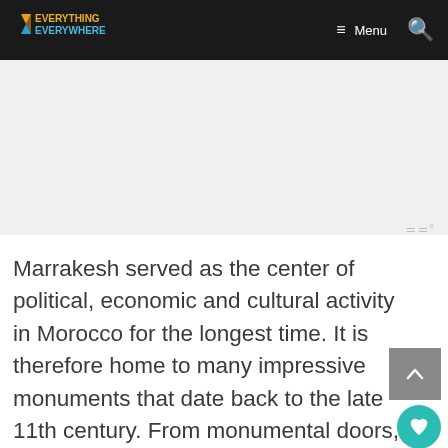Everything Everywhere — Menu (navigation bar)
[Figure (other): Advertisement placeholder area (gray/white background)]
Marrakesh served as the center of political, economic and cultural activity in Morocco for the longest time. It is therefore home to many impressive monuments that date back to the late 11th century. From monumental doors, gardens and mosques, these were